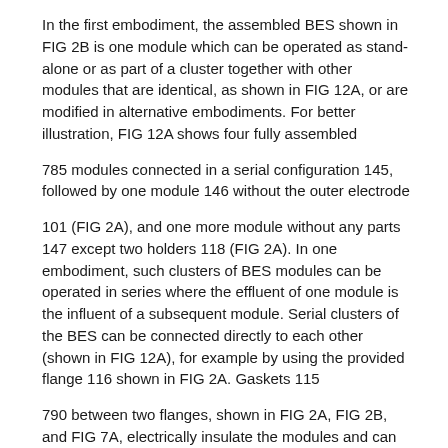In the first embodiment, the assembled BES shown in FIG 2B is one module which can be operated as stand-alone or as part of a cluster together with other modules that are identical, as shown in FIG 12A, or are modified in alternative embodiments. For better illustration, FIG 12A shows four fully assembled
785 modules connected in a serial configuration 145, followed by one module 146 without the outer electrode
101 (FIG 2A), and one more module without any parts 147 except two holders 118 (FIG 2A). In one embodiment, such clusters of BES modules can be operated in series where the effluent of one module is the influent of a subsequent module. Serial clusters of the BES can be connected directly to each other (shown in FIG 12A), for example by using the provided flange 116 shown in FIG 2A. Gaskets 115
790 between two flanges, shown in FIG 2A, FIG 2B, and FIG 7A, electrically insulate the modules and can be made of Teflon®, rubber, fabric, wood-based materials, and so forth. In alternative embodiments, the connection between